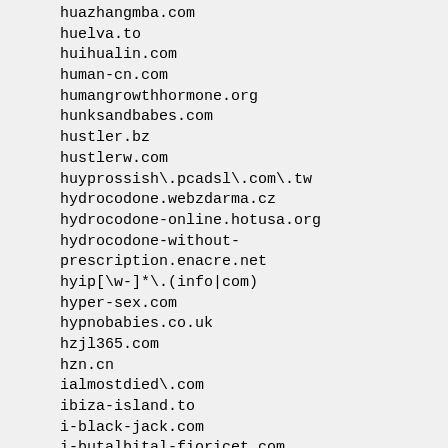huazhangmba.com
huelva.to
huihualin.com
human-cn.com
humangrowthhormone.org
hunksandbabes.com
hustler.bz
hustlerw.com
huyprossish\.pcadsl\.com\.tw
hydrocodone.webzdarma.cz
hydrocodone-online.hotusa.org
hydrocodone-without-prescription.enacre.net
hyip[\w-]*\.(info|com)
hyper-sex.com
hypnobabies.co.uk
hzjl365.com
hzn.cn
ialmostdied\.com
ibiza-island.to
i-black-jack.com
i-butalbital-fioricet.com
i-buy-mortgage.com
icpcn\.com
idc2008\.cn